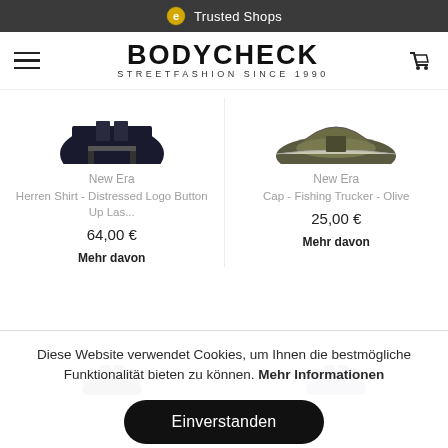Trusted Shops
BODYCHECK STREETFASHION SINCE 1990
[Figure (photo): Partial view of a dark navy/black shirt product image (cropped top)]
New Era
Herren Shirt - Distressed Logo Button Up Las...
64,00 €
Mehr davon
[Figure (photo): Partial view of an olive/khaki trucker cap product image (cropped top)]
New Era
Cap - Fishing Trucker - Olive
25,00 €
Mehr davon
[Figure (photo): Partial view of a dark product (bottom of page, cropped)]
[Figure (photo): Partial view of a dark purple/violet product (bottom of page, cropped)]
Diese Website verwendet Cookies, um Ihnen die bestmögliche Funktionalität bieten zu können. Mehr Informationen
Einverstanden